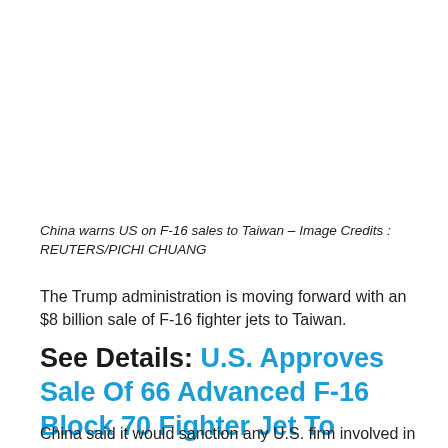[Figure (photo): Photo of F-16 fighter jets, associated with China warning US on F-16 sales to Taiwan]
China warns US on F-16 sales to Taiwan – Image Credits : REUTERS/PICHI CHUANG
The Trump administration is moving forward with an $8 billion sale of F-16 fighter jets to Taiwan.
See Details: U.S. Approves Sale Of 66 Advanced F-16 Block 70 Fighter Jet To Taiwan For $8 Billion
China said it would sanction any U.S. firm involved in a planned $8